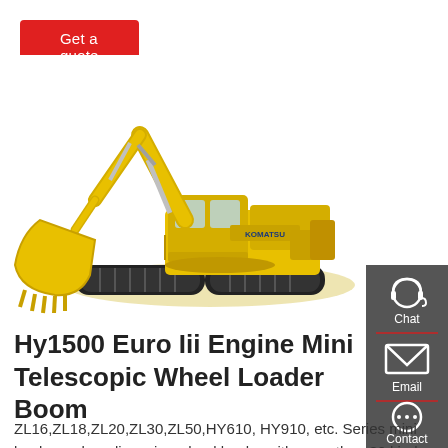Get a quote
[Figure (photo): Yellow Komatsu tracked excavator with telescopic boom and bucket, shown on white background]
[Figure (infographic): Dark grey sidebar with Chat (headset icon), Email (envelope icon), and Contact (speech bubble icon) buttons]
Hy1500 Euro Iii Engine Mini Telescopic Wheel Loader Boom
ZL16,ZL18,ZL20,ZL30,ZL50,HY610, HY910, etc. Series mini loader and medium size wheel loader with more than 30 kinds